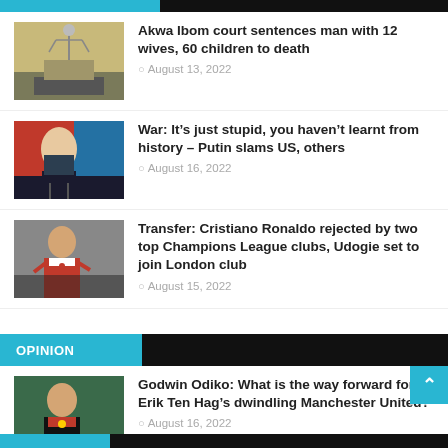Akwa Ibom court sentences man with 12 wives, 60 children to death
August 13, 2022
War: It’s just stupid, you haven’t learnt from history – Putin slams US, others
August 16, 2022
Transfer: Cristiano Ronaldo rejected by two top Champions League clubs, Udogie set to join London club
August 15, 2022
OPINION
Godwin Odiko: What is the way forward for Erik Ten Hag’s dwindling Manchester United?
August 16, 2022